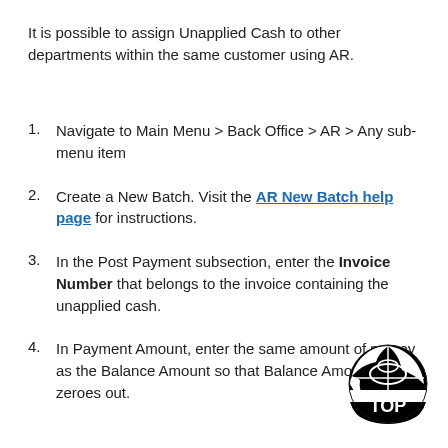It is possible to assign Unapplied Cash to other departments within the same customer using AR.
Navigate to Main Menu > Back Office > AR > Any sub-menu item
Create a New Batch. Visit the AR New Batch help page for instructions.
In the Post Payment subsection, enter the Invoice Number that belongs to the invoice containing the unapplied cash.
In Payment Amount, enter the same amount of money as the Balance Amount so that Balance Amount zeroes out.
[Figure (logo): Circular TOP logo badge in black and white with globe-like design and 'TOP' text]